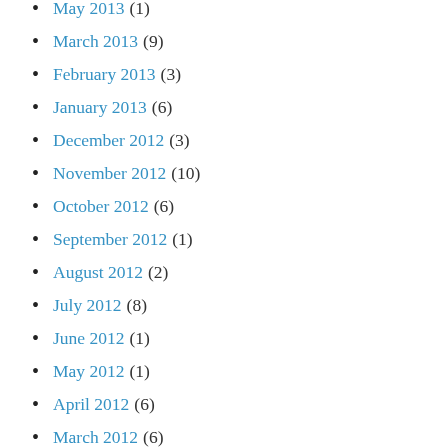May 2013 (1)
March 2013 (9)
February 2013 (3)
January 2013 (6)
December 2012 (3)
November 2012 (10)
October 2012 (6)
September 2012 (1)
August 2012 (2)
July 2012 (8)
June 2012 (1)
May 2012 (1)
April 2012 (6)
March 2012 (6)
January 2012 (4)
December 2011 (14)
November 2011 (2)